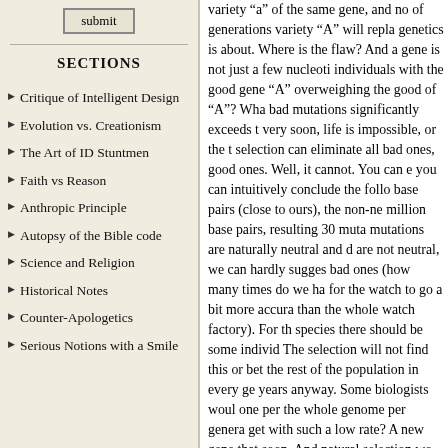Critique of Intelligent Design
Evolution vs. Creationism
The Art of ID Stuntmen
Faith vs Reason
Anthropic Principle
Autopsy of the Bible code
Science and Religion
Historical Notes
Counter-Apologetics
Serious Notions with a Smile
variety “a” of the same gene, and no of generations variety “A” will repla genetics is about. Where is the flaw? And a gene is not just a few nucleoti individuals with the good gene “A” overweighing the good of “A”? Wha bad mutations significantly exceeds t very soon, life is impossible, or the t selection can eliminate all bad ones, good ones. Well, it cannot. You can e you can intuitively conclude the follo base pairs (close to ours), the non-ne million base pairs, resulting 30 muta mutations are naturally neutral and d are not neutral, we can hardly sugges bad ones (how many times do we ha for the watch to go a bit more accura than the whole watch factory). For th species there should be some individ The selection will not find this or bet the rest of the population in every ge years anyway. Some biologists woul one per the whole genome per genera get with such a low rate? A new gene that soon. And natural selection wo